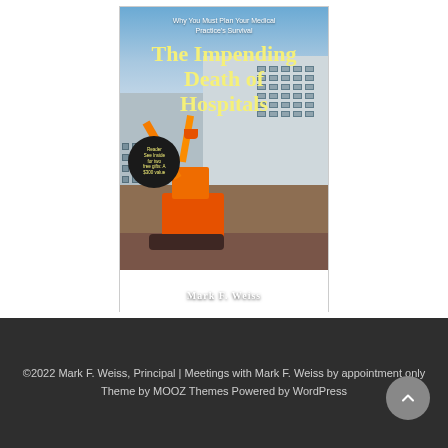[Figure (illustration): Book cover for 'The Impending Death of Hospitals' by Mark F. Weiss. Subtitle: 'Why You Must Plan Your Medical Practice's Survival'. Shows a large building being demolished by an excavator with a black circular badge reading 'Reader See Inside for two free gifts: A $300 value'. Yellow title text on photo background.]
©2022 Mark F. Weiss, Principal | Meetings with Mark F. Weiss by appointment only
Theme by MOOZ Themes Powered by WordPress